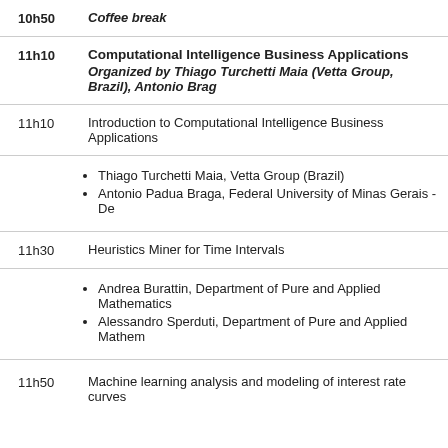10h50 — Coffee break
11h10 — Computational Intelligence Business Applications
Organized by Thiago Turchetti Maia (Vetta Group, Brazil), Antonio Braga...
11h10 — Introduction to Computational Intelligence Business Applications
Thiago Turchetti Maia, Vetta Group (Brazil)
Antonio Padua Braga, Federal University of Minas Gerais - De...
11h30 — Heuristics Miner for Time Intervals
Andrea Burattin, Department of Pure and Applied Mathematics...
Alessandro Sperduti, Department of Pure and Applied Mathem...
11h50 — Machine learning analysis and modeling of interest rate curves